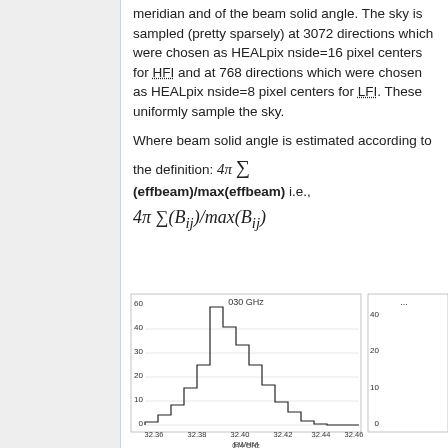meridian and of the beam solid angle. The sky is sampled (pretty sparsely) at 3072 directions which were chosen as HEALpix nside=16 pixel centers for HFI and at 768 directions which were chosen as HEALpix nside=8 pixel centers for LFI. These uniformly sample the sky.
Where beam solid angle is estimated according to the definition: 4π Σ (effbeam)/max(effbeam) i.e., 4π Σ(B_ij)/max(B_ij)
[Figure (histogram): 030 GHz]